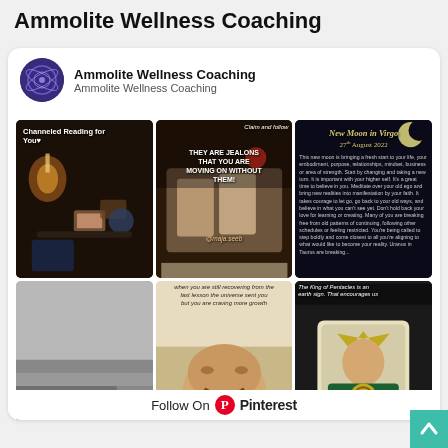Ammolite Wellness Coaching
Ammolite Wellness Coaching
Ammolite Wellness Coaching
[Figure (screenshot): Pinterest board screenshot showing 6 image thumbnails: tarot/candle reading image with text 'Channeled Reading for You', tarot cards image with text 'THEY ARE JEALONS THAT YOU ARE MOVING ON WITHOUT THEM!', New Moon in Virgo August 27 2022 text post, black and white landscape photo, motivational text image about recovering from lessons, King of Coins tarot card image]
Follow On Pinterest